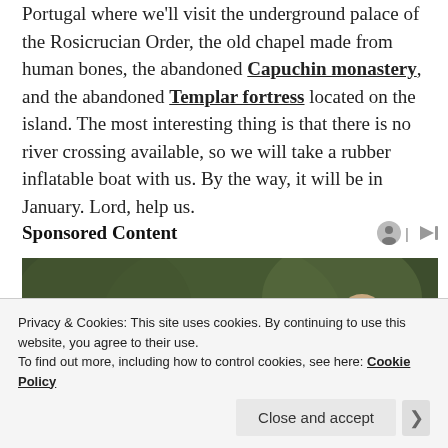Portugal where we'll visit the underground palace of the Rosicrucian Order, the old chapel made from human bones, the abandoned Capuchin monastery, and the abandoned Templar fortress located on the island. The most interesting thing is that there is no river crossing available, so we will take a rubber inflatable boat with us. By the way, it will be in January. Lord, help us.
Sponsored Content
[Figure (photo): Photo of two people partially visible, appearing to be a man and a woman, with green foliage background.]
Privacy & Cookies: This site uses cookies. By continuing to use this website, you agree to their use.
To find out more, including how to control cookies, see here: Cookie Policy
Close and accept